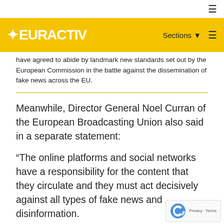☰
[Figure (logo): EURACTIV logo on yellow banner with Sections navigation]
have agreed to abide by landmark new standards set out by the European Commission in the battle against the dissemination of fake news across the EU.
Meanwhile, Director General Noel Curran of the European Broadcasting Union also said in a separate statement:
“The online platforms and social networks have a responsibility for the content that they circulate and they must act decisively against all types of fake news and disinformation.
“We would urge the European Commission to re the scale of the threat and take this issue seriously.